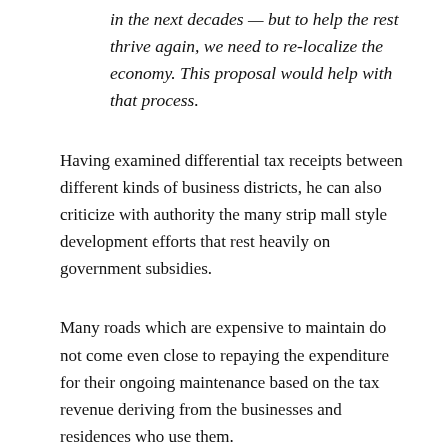in the next decades — but to help the rest thrive again, we need to re-localize the economy. This proposal would help with that process.
Having examined differential tax receipts between different kinds of business districts, he can also criticize with authority the many strip mall style development efforts that rest heavily on government subsidies.
Many roads which are expensive to maintain do not come even close to repaying the expenditure for their ongoing maintenance based on the tax revenue deriving from the businesses and residences who use them.